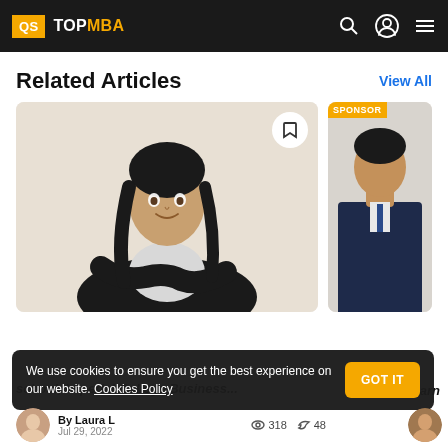QS TOPMBA
Related Articles
View All
[Figure (photo): Woman in black blazer with arms crossed, smiling, against a light background. Article thumbnail.]
[Figure (photo): Man in dark suit, partially visible, with SPONSORED badge. Second article thumbnail.]
school, Imperial College Business...
learn
We use cookies to ensure you get the best experience on our website. Cookies Policy
GOT IT
By Laura L
Jul 29, 2022
318
48